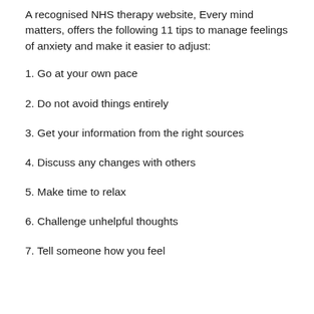A recognised NHS therapy website, Every mind matters, offers the following 11 tips to manage feelings of anxiety and make it easier to adjust:
1. Go at your own pace
2. Do not avoid things entirely
3. Get your information from the right sources
4. Discuss any changes with others
5. Make time to relax
6. Challenge unhelpful thoughts
7. Tell someone how you feel